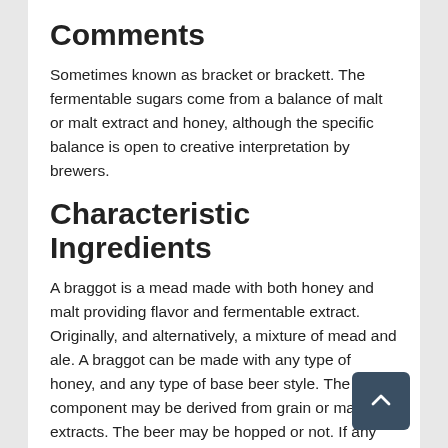Comments
Sometimes known as bracket or brackett. The fermentable sugars come from a balance of malt or malt extract and honey, although the specific balance is open to creative interpretation by brewers.
Characteristic Ingredients
A braggot is a mead made with both honey and malt providing flavor and fermentable extract. Originally, and alternatively, a mixture of mead and ale. A braggot can be made with any type of honey, and any type of base beer style. The malt component may be derived from grain or malt extracts. The beer may be hopped or not. If any other ingredients than honey and beer are contained in the braggot, it should be entered as an Experimental Mead. Smoked braggots may be entered in this category if using smoked malt or a